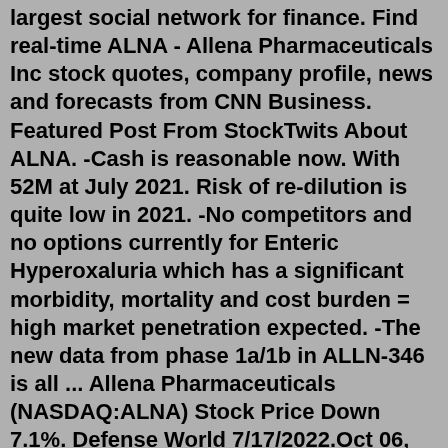largest social network for finance. Find real-time ALNA - Allena Pharmaceuticals Inc stock quotes, company profile, news and forecasts from CNN Business. Featured Post From StockTwits About ALNA. -Cash is reasonable now. With 52M at July 2021. Risk of re-dilution is quite low in 2021. -No competitors and no options currently for Enteric Hyperoxaluria which has a significant morbidity, mortality and cost burden = high market penetration expected. -The new data from phase 1a/1b in ALLN-346 is all ... Allena Pharmaceuticals (NASDAQ:ALNA) Stock Price Down 7.1%. Defense World 7/17/2022.Oct 06, 2020 · Allena Pharmaceuticals, Inc. (ALNA) could be a solid addition to your portfolio given its recent upgrade to a Zacks Rank #2 (Buy). This rating change essentially reflects an upward trend in earnings estimates -- one of the most powerful forces impacting stock prices. The Zacks rating relies solely on a company's changing earnings picture. The following information was filed by Allena Pharmaceuticals, Inc. (ALNA) on